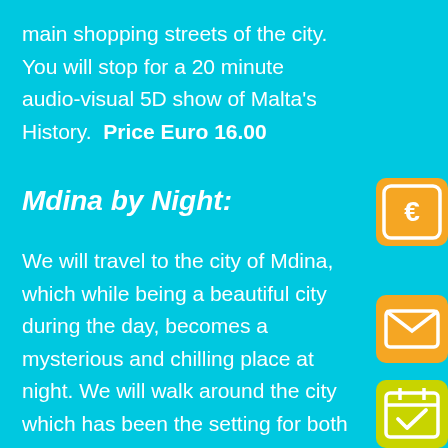main shopping streets of the city. You will stop for a 20 minute audio-visual 5D show of Malta's History. Price Euro 16.00
Mdina by Night:
We will travel to the city of Mdina, which while being a beautiful city during the day, becomes a mysterious and chilling place at night. We will walk around the city which has been the setting for both times of peace and times of war and visit the Mdina Dungeons and enjoy the breathtaking views from the
[Figure (illustration): Orange rounded square icon with Euro symbol]
[Figure (illustration): Orange rounded square icon with envelope/mail symbol]
[Figure (illustration): Yellow-green rounded square icon with calendar and checkmark symbol]